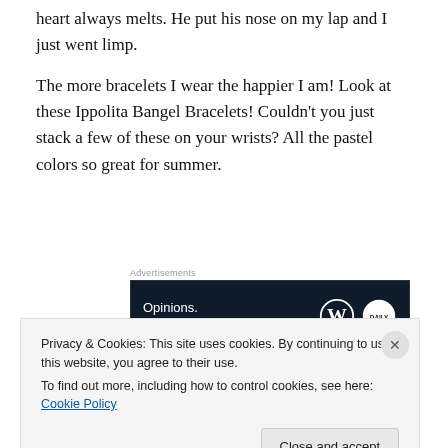heart always melts. He put his nose on my lap and I just went limp.
The more bracelets I wear the happier I am! Look at these Ippolita Bangel Bracelets! Couldn’t you just stack a few of these on your wrists? All the pastel colors so great for summer.
[Figure (screenshot): Advertisement banner with dark navy background reading 'Opinions. We all have them!' with WordPress (W) logo and a circular news logo on the right.]
Last but not least, a girl has to have some GREAT ice
Privacy & Cookies: This site uses cookies. By continuing to use this website, you agree to their use.
To find out more, including how to control cookies, see here: Cookie Policy
Close and accept